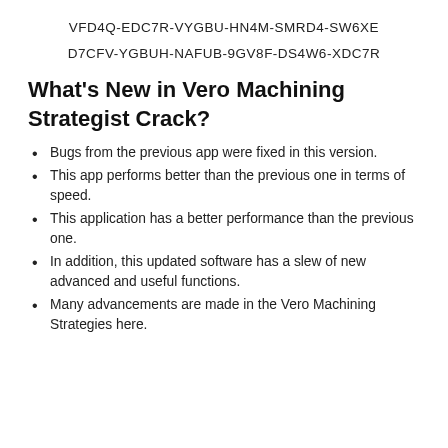VFD4Q-EDC7R-VYGBU-HN4M-SMRD4-SW6XE
D7CFV-YGBUH-NAFUB-9GV8F-DS4W6-XDC7R
What's New in Vero Machining Strategist Crack?
Bugs from the previous app were fixed in this version.
This app performs better than the previous one in terms of speed.
This application has a better performance than the previous one.
In addition, this updated software has a slew of new advanced and useful functions.
Many advancements are made in the Vero Machining Strategies here.